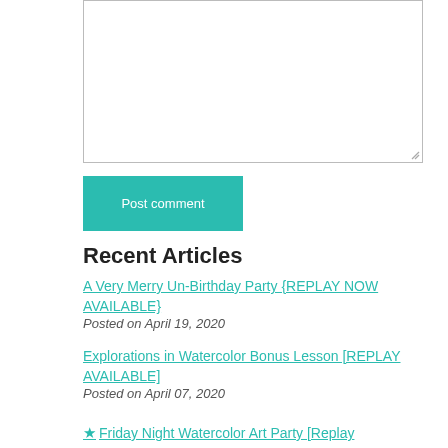[Figure (other): A large empty text area input box for entering a comment, with a resize handle in the bottom-right corner.]
Post comment
Recent Articles
A Very Merry Un-Birthday Party {REPLAY NOW AVAILABLE}
Posted on April 19, 2020
Explorations in Watercolor Bonus Lesson [REPLAY AVAILABLE]
Posted on April 07, 2020
★ Friday Night Watercolor Art Party [Replay